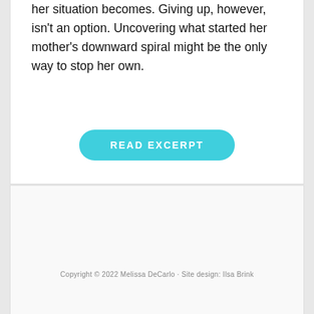her situation becomes. Giving up, however, isn't an option. Uncovering what started her mother's downward spiral might be the only way to stop her own.
[Figure (other): A teal/cyan rounded button labeled READ EXCERPT]
Copyright © 2022 Melissa DeCarlo · Site design: Ilsa Brink